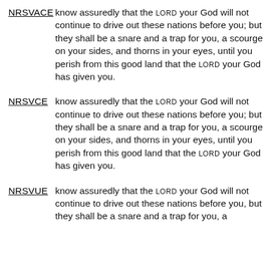NRSVACE   know assuredly that the LORD your God will not continue to drive out these nations before you; but they shall be a snare and a trap for you, a scourge on your sides, and thorns in your eyes, until you perish from this good land that the LORD your God has given you.
NRSVCE   know assuredly that the LORD your God will not continue to drive out these nations before you; but they shall be a snare and a trap for you, a scourge on your sides, and thorns in your eyes, until you perish from this good land that the LORD your God has given you.
NRSVUE   know assuredly that the LORD your God will not continue to drive out these nations before you, but they shall be a snare and a trap for you, a